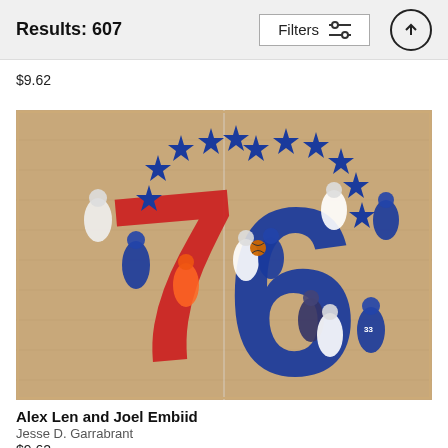Results: 607
$9.62
[Figure (photo): Aerial view of Philadelphia 76ers basketball court with the 76 logo painted on the floor. Players in blue (76ers) and white uniforms are playing. The court has a large red '7' and blue '6' forming the team's '76' logo, surrounded by a ring of blue stars. Players visible include #30, #33, and others around a jump ball or rebounding play.]
Alex Len and Joel Embiid
Jesse D. Garrabrant
$9.62